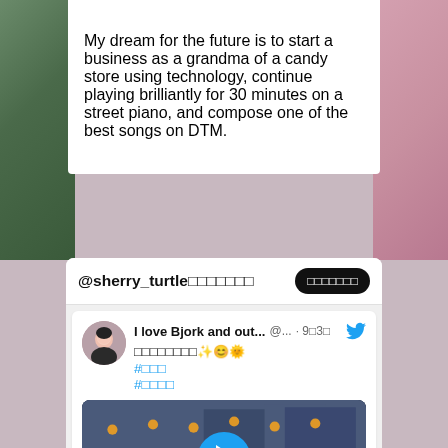My dream for the future is to start a business as a grandma of a candy store using technology, continue playing brilliantly for 30 minutes on a street piano, and compose one of the best songs on DTM.
[Figure (screenshot): Twitter/social media embed card showing account @sherry_turtle with Japanese characters, a follow button, a tweet from 'I love Bjork and out...' dated 9月3日 with Japanese text, hashtags, and a video thumbnail showing a Japanese festival street scene with a blue play button overlay.]